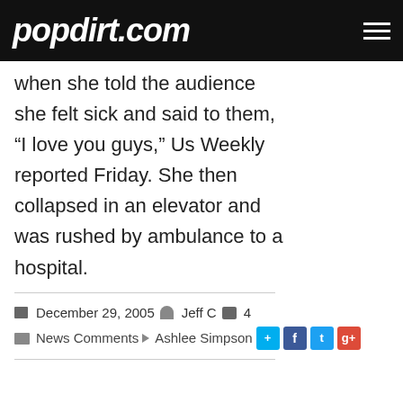popdirt.com
when she told the audience she felt sick and said to them, “I love you guys,” Us Weekly reported Friday. She then collapsed in an elevator and was rushed by ambulance to a hospital.
December 29, 2005  Jeff C  4  News Comments  Ashlee Simpson